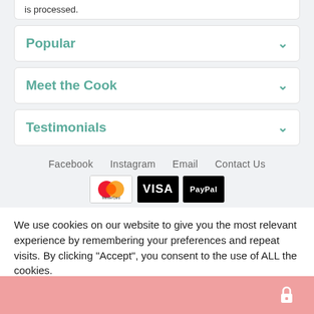is processed.
Popular
Meet the Cook
Testimonials
Facebook   Instagram   Email   Contact Us
[Figure (other): Payment method icons: MasterCard, VISA, PayPal]
We use cookies on our website to give you the most relevant experience by remembering your preferences and repeat visits. By clicking “Accept”, you consent to the use of ALL the cookies.
[Figure (other): Green Accept button (partially visible)]
[Figure (other): Pink footer bar with lock icon]